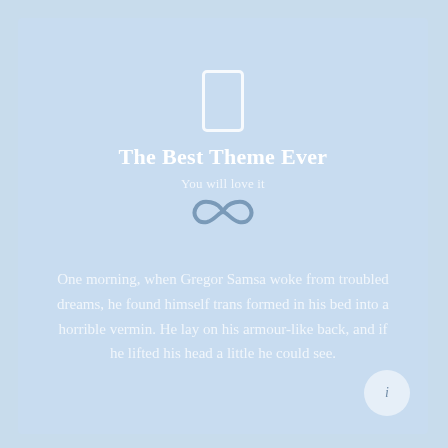[Figure (illustration): Smartphone/phone outline icon in white border on light blue background]
The Best Theme Ever
You will love it
[Figure (illustration): Infinity symbol in grey/dark color]
One morning, when Gregor Samsa woke from troubled dreams, he found himself transformed in his bed into a horrible vermin. He lay on his armour-like back, and if he lifted his head a little he could see.